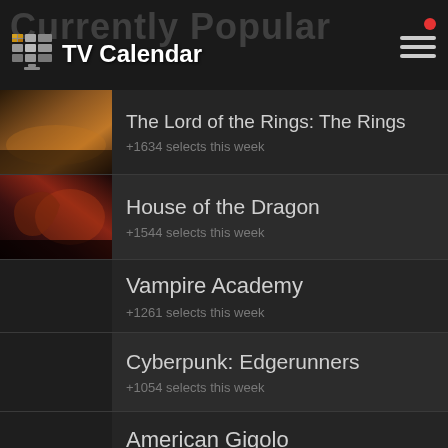TV Calendar
Currently Popular
The Lord of the Rings: The Rings — +1634 selects this week
House of the Dragon — +1544 selects this week
Vampire Academy — +1261 selects this week
Cyberpunk: Edgerunners — +1054 selects this week
American Gigolo — +799 selects this week